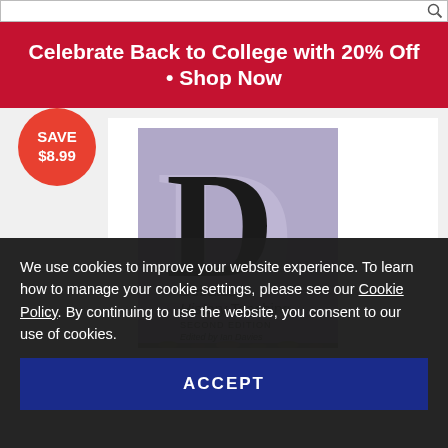Celebrate Back to College with 20% Off • Shop Now
[Figure (photo): Book cover of 'Debates in History Teaching, Second Edition, Edited by Ian Davies' with a purple cover featuring a large decorative letter D and a pebble beach image at the bottom. A red circular badge reads 'SAVE $8.99'.]
We use cookies to improve your website experience. To learn how to manage your cookie settings, please see our Cookie Policy. By continuing to use the website, you consent to our use of cookies.
ACCEPT